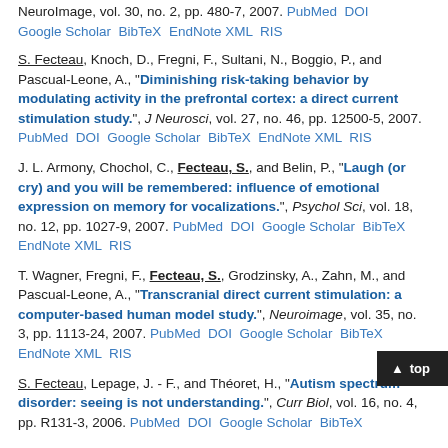NeuroImage, vol. 30, no. 2, pp. 480-7, 2007. PubMed DOI Google Scholar BibTeX EndNote XML RIS
S. Fecteau, Knoch, D., Fregni, F., Sultani, N., Boggio, P., and Pascual-Leone, A., "Diminishing risk-taking behavior by modulating activity in the prefrontal cortex: a direct current stimulation study.", J Neurosci, vol. 27, no. 46, pp. 12500-5, 2007. PubMed DOI Google Scholar BibTeX EndNote XML RIS
J. L. Armony, Chochol, C., Fecteau, S., and Belin, P., "Laugh (or cry) and you will be remembered: influence of emotional expression on memory for vocalizations.", Psychol Sci, vol. 18, no. 12, pp. 1027-9, 2007. PubMed DOI Google Scholar BibTeX EndNote XML RIS
T. Wagner, Fregni, F., Fecteau, S., Grodzinsky, A., Zahn, M., and Pascual-Leone, A., "Transcranial direct current stimulation: a computer-based human model study.", Neuroimage, vol. 35, no. 3, pp. 1113-24, 2007. PubMed DOI Google Scholar BibTeX EndNote XML RIS
S. Fecteau, Lepage, J. - F., and Théoret, H., "Autism spectrum disorder: seeing is not understanding.", Curr Biol, vol. 16, no. 4, pp. R131-3, 2006. PubMed DOI Google Scholar BibTeX